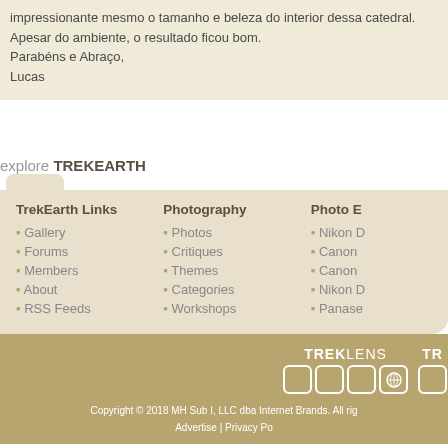impressionante mesmo o tamanho e beleza do interior dessa catedral. Apesar do ambiente, o resultado ficou bom.
Parabéns e Abraço,
Lucas
explore TREKEARTH
TrekEarth Links: Gallery, Forums, Members, About, RSS Feeds
Photography: Photos, Critiques, Themes, Categories, Workshops
Photo E: Nikon, Canon, Canon, Nikon, Panase
Copyright © 2018 MH Sub I, LLC dba Internet Brands. All rights reserved. Advertise | Privacy Po